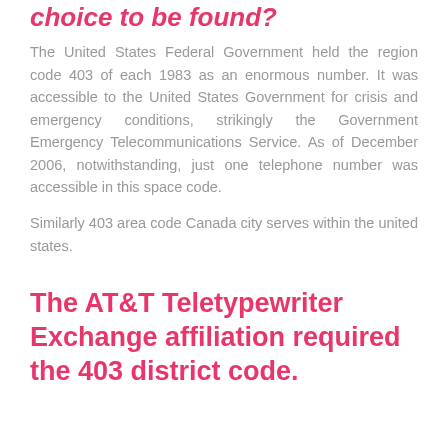choice to be found?
The United States Federal Government held the region code 403 of each 1983 as an enormous number. It was accessible to the United States Government for crisis and emergency conditions, strikingly the Government Emergency Telecommunications Service. As of December 2006, notwithstanding, just one telephone number was accessible in this space code.
Similarly 403 area code Canada city serves within the united states.
The AT&T Teletypewriter Exchange affiliation required the 403 district code.